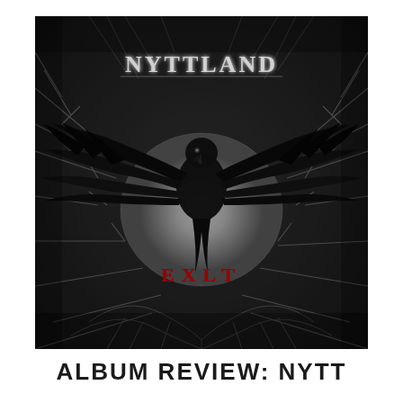[Figure (illustration): Album cover art for Nyttland - Exlt. Dark atmospheric black metal artwork featuring a large black raven with wings spread wide against a moonlit background, surrounded by twisted dark branches and roots. The band name 'NYTTLAND' is written in ornate metal lettering at the top, and the album title 'EXLT' appears in red runic-style text in the lower-center of the image. Overall color palette is dark grey and black with a pale moon behind the raven.]
ALBUM REVIEW: NYTT